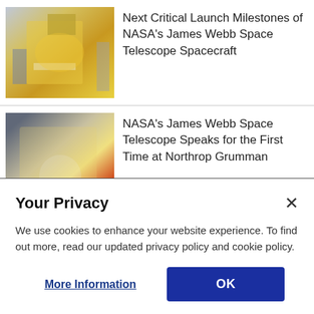[Figure (photo): Photo of NASA James Webb Space Telescope in a cleanroom facility, showing gold mirror segments and yellow scaffolding, with technicians in white suits.]
Next Critical Launch Milestones of NASA's James Webb Space Telescope Spacecraft
[Figure (photo): Photo of NASA James Webb Space Telescope at Northrop Grumman facility, showing the underside of the spacecraft with technicians in white cleanroom suits nearby.]
NASA's James Webb Space Telescope Speaks for the First Time at Northrop Grumman
[Figure (photo): Photo of a rocket launch at night with orange and brown exhaust plumes illuminating launch towers.]
Northrop Grumman Technologies Lift NASA's Parker Solar Probe on
Your Privacy
We use cookies to enhance your website experience. To find out more, read our updated privacy policy and cookie policy.
More Information
OK